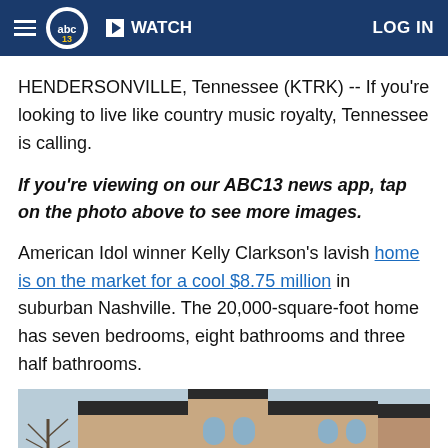abc13 | WATCH | LOG IN
HENDERSONVILLE, Tennessee (KTRK) -- If you're looking to live like country music royalty, Tennessee is calling.
If you're viewing on our ABC13 news app, tap on the photo above to see more images.
American Idol winner Kelly Clarkson's lavish home is on the market for a cool $8.75 million in suburban Nashville. The 20,000-square-foot home has seven bedrooms, eight bathrooms and three half bathrooms.
[Figure (photo): Exterior photo of Kelly Clarkson's large brick mansion in Hendersonville, Tennessee, with arched windows and bare winter trees in foreground.]